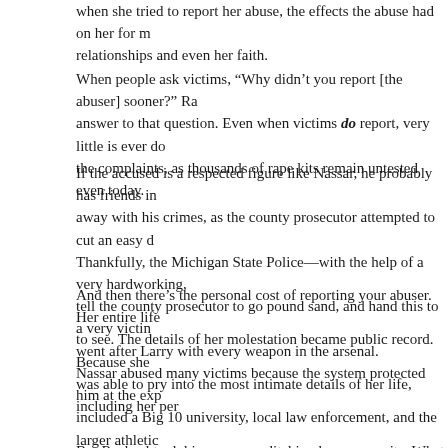when she tried to report her abuse, the effects the abuse had on her for relationships and even her faith.
When people ask victims, “Why didn’t you report [the abuser] sooner?” Ra answer to that question. Even when victims do report, very little is ever do the complaints, as thousands of rape kits remain untested even today.
If the accused is a respected figure like Nassar, he probably has friends in away with his crimes, as the county prosecutor attempted to cut an easy c Thankfully, the Michigan State Police—with the help of a very hardworking, tell the county prosecutor to go pound sand, and hand this to a very victin went after Larry with every weapon in the arsenal.
And then there’s the personal cost of reporting your abuser. Her entire life to see. The details of her molestation became public record. Because she was able to pry into the most intimate details of her life, including her per
Nassar abused many victims because the system protected him at the exp included a Big 10 university, local law enforcement, and the larger athletic Gymnastics. Rachael provides a devastating picture—with the clarity of the abuser-friendly system which protected Nassar for years. Had it not been whom Rachael appealed with her story about Nassar—he might still be ab
But Rachael took him on, even ditching her anonymity. What drove her: he she said it, “the more you love, the harder you fight.”